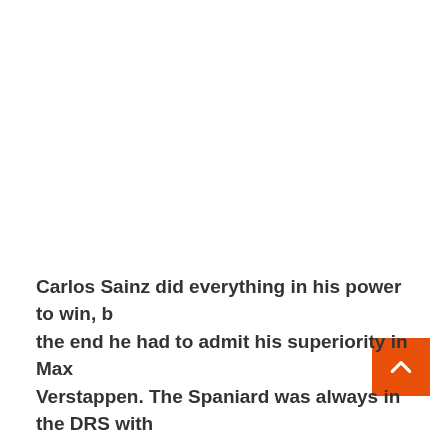Carlos Sainz did everything in his power to win, but in the end he had to admit his superiority in Max Verstappen. The Spaniard was always in the DRS with